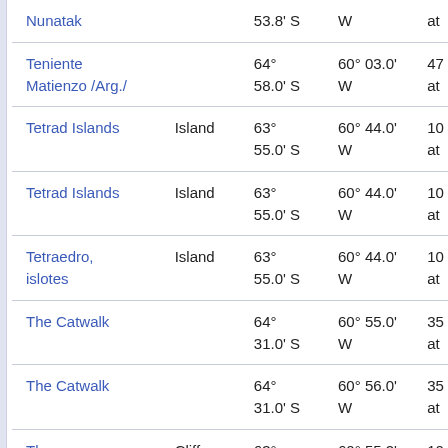| Name | Type | Latitude | Longitude | Extra |
| --- | --- | --- | --- | --- |
| Nunatak |  | 53.8' S | W | at |
| Teniente Matienzo /Arg./ |  | 64° 58.0' S | 60° 03.0' W | 47 at |
| Tetrad Islands | Island | 63° 55.0' S | 60° 44.0' W | 10 at |
| Tetrad Islands | Island | 63° 55.0' S | 60° 44.0' W | 10 at |
| Tetraedro, islotes | Island | 63° 55.0' S | 60° 44.0' W | 10 at |
| The Catwalk |  | 64° 31.0' S | 60° 55.0' W | 35 at |
| The Catwalk |  | 64° 31.0' S | 60° 56.0' W | 35 at |
| The Symplegades | Cliff | 63° 51.2' S | 60° 55.2' W | 10 at |
| The |  | 63° | 60° 59.1... | 10 |